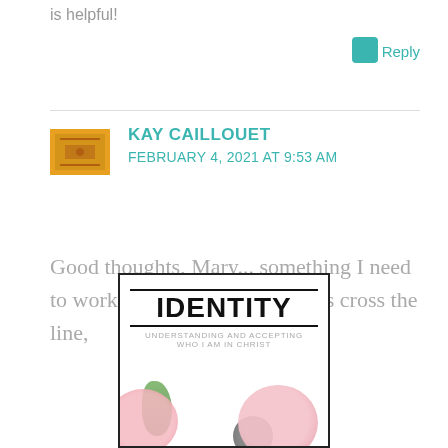is helpful!
Reply
KAY CAILLOUET
FEBRUARY 4, 2021 AT 9:53 AM
Good thoughts, Mary... something I need to work on always. When others cross the line,
[Figure (illustration): Book cover for 'IDENTITY: Understanding and Accepting Who I Am in Christ' with pink flowers at the bottom]